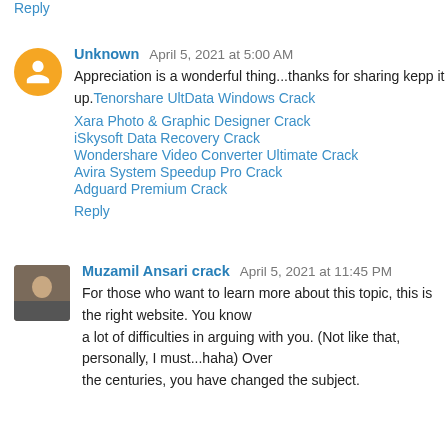Reply
Unknown April 5, 2021 at 5:00 AM
Appreciation is a wonderful thing...thanks for sharing kepp it up. Tenorshare UltData Windows Crack Xara Photo & Graphic Designer Crack iSkysoft Data Recovery Crack Wondershare Video Converter Ultimate Crack Avira System Speedup Pro Crack Adguard Premium Crack
Reply
Muzamil Ansari crack April 5, 2021 at 11:45 PM
For those who want to learn more about this topic, this is the right website. You know a lot of difficulties in arguing with you. (Not like that, personally, I must...haha) Over the centuries, you have changed the subject.